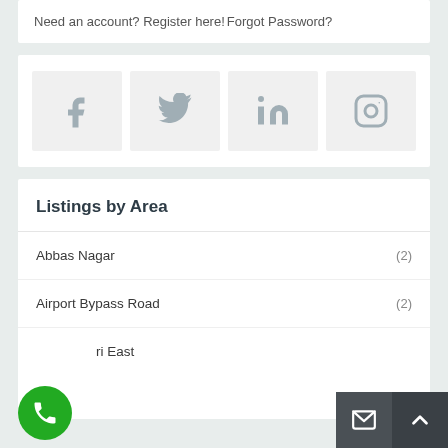Need an account? Register here!Forgot Password?
[Figure (other): Social media icons: Facebook, Twitter, LinkedIn, Instagram]
Listings by Area
Abbas Nagar (2)
Airport Bypass Road (2)
...ri East